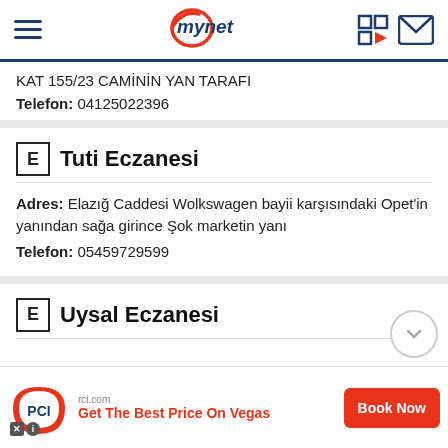mynet (logo header)
KAT 155/23 CAMİNİN YAN TARAFI
Telefon: 04125022396
E Tuti Eczanesi
Adres: Elazığ Caddesi Wolkswagen bayii karşısındaki Opet'in yanından sağa girince Şok marketin yanı
Telefon: 05459729599
E Uysal Eczanesi
[Figure (infographic): Advertisement banner for RCI.com — 'Get The Best Price On Vegas' with Book Now button and PCI logo]